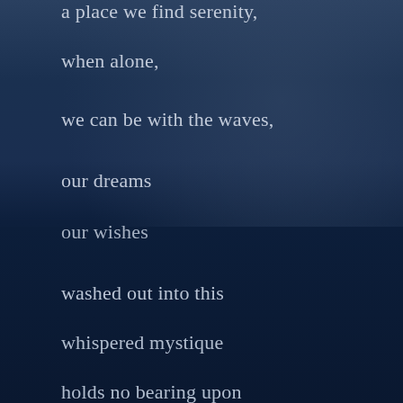a place we find serenity,
when alone,
we can be with the waves,
our dreams
our wishes
washed out into this
whispered mystique
holds no bearing upon
our surreal matter
safest love.